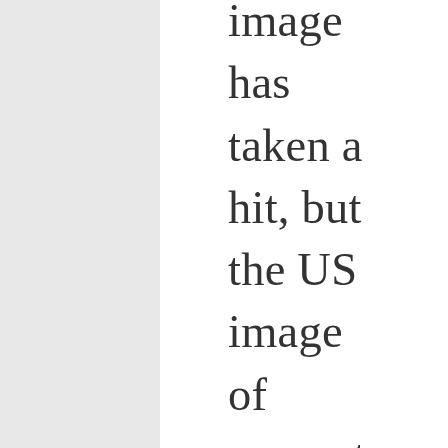image has taken a hit, but the US image of competence has been punctured. The focus on rebuilding economies works in China's favor, as in the desire for Chinese tourists to return. This will be a big opportunity for China. India still punches under its weight, focusing west and north more. Japan is a bigger player, meeting China's challenge in